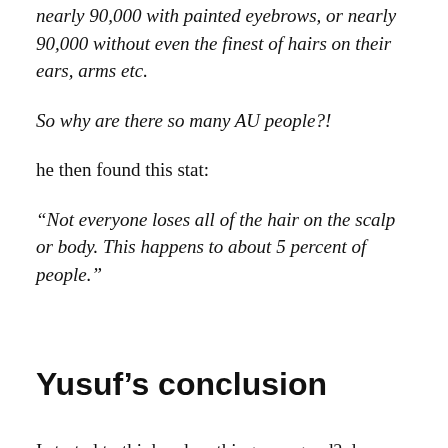nearly 90,000 with painted eyebrows, or nearly 90,000 without even the finest of hairs on their ears, arms etc.
So why are there so many AU people?!
he then found this stat:
“Not everyone loses all of the hair on the scalp or body. This happens to about 5 percent of people.”
Yusuf’s conclusion
I started to think, when things are good? do you think about anything else? no! you’re too busy enjoying yourself. It’s only when things are bad that people really